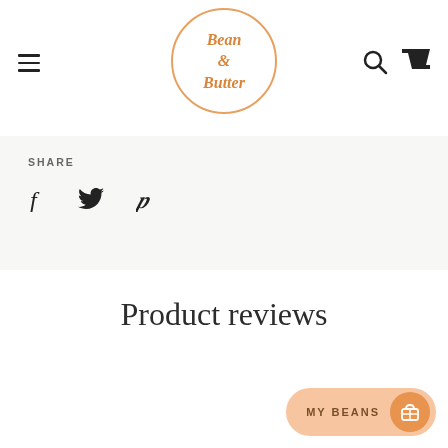Bean & Butter — navigation header with hamburger menu, logo, search and cart icons
SHARE
[Figure (other): Social share icons: Facebook (f), Twitter (bird), Pinterest (P)]
Product reviews
MY BEANS